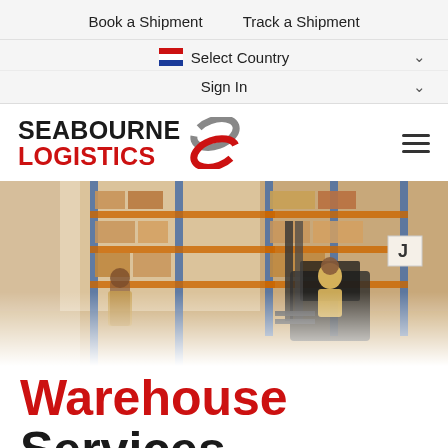Book a Shipment   Track a Shipment
Select Country
Sign In
[Figure (logo): Seabourne Logistics logo with grey and red swirl icon]
[Figure (photo): Warehouse interior with blue steel shelving racks loaded with boxes, a forklift operator in yellow vest, and another worker in background]
Warehouse Services